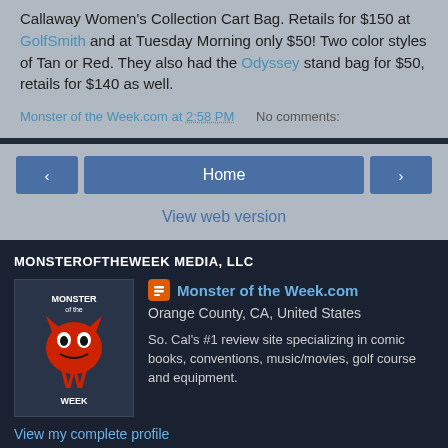Callaway Women's Collection Cart Bag. Retails for $150 at GolfSmith and at Tuesday Morning only $50! Two color styles of Tan or Red. They also had the Odyssey stand bag for $50, retails for $140 as well.
Monster of the Week.com at 2:58 PM    No comments:
Home | View web version
MONSTEROFTHEWEEK MEDIA, LLC
[Figure (logo): Monster of the Week logo with stylized red creature face and letter W]
Monster of the Week.com
Orange County, CA, United States
So. Cal's #1 review site specializing in comic books, conventions, music/movies, golf course and equipment.
View my complete profile
Powered by Blogger.